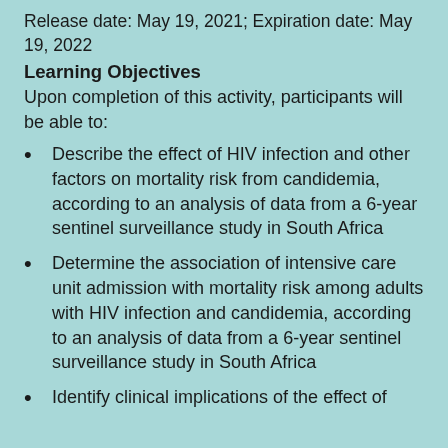Release date: May 19, 2021; Expiration date: May 19, 2022
Learning Objectives
Upon completion of this activity, participants will be able to:
Describe the effect of HIV infection and other factors on mortality risk from candidemia, according to an analysis of data from a 6-year sentinel surveillance study in South Africa
Determine the association of intensive care unit admission with mortality risk among adults with HIV infection and candidemia, according to an analysis of data from a 6-year sentinel surveillance study in South Africa
Identify clinical implications of the effect of